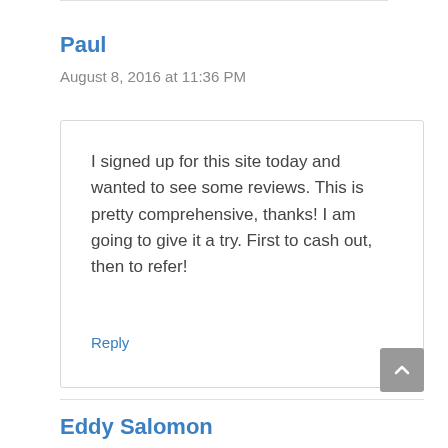Paul
August 8, 2016 at 11:36 PM
I signed up for this site today and wanted to see some reviews. This is pretty comprehensive, thanks! I am going to give it a try. First to cash out, then to refer!
Reply
Eddy Salomon